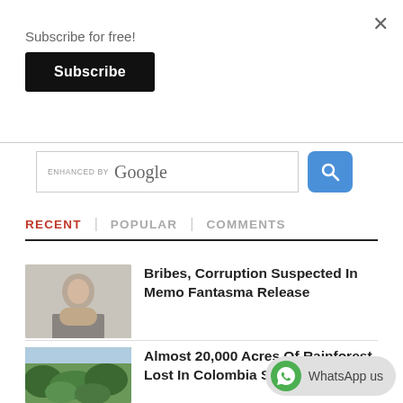Subscribe for free!
Subscribe
[Figure (screenshot): Google search bar with 'ENHANCED BY Google' label and blue search button]
RECENT | POPULAR | COMMENTS
Bribes, Corruption Suspected In Memo Fantasma Release
[Figure (photo): Headshot of a man in a suit jacket]
Almost 20,000 Acres Of Rainforest Lost In Colombia So Far This Year
[Figure (photo): Aerial photo of rainforest canopy]
WhatsApp us